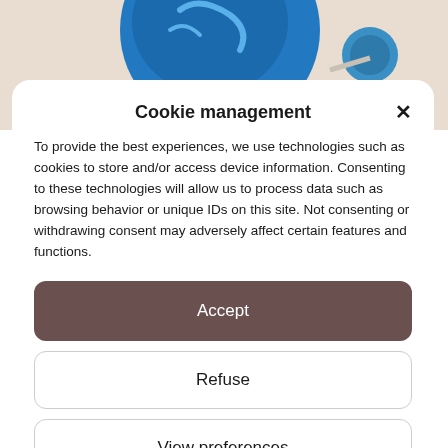[Figure (illustration): Decorative cookie/food illustration on beige background at top of page]
Cookie management
To provide the best experiences, we use technologies such as cookies to store and/or access device information. Consenting to these technologies will allow us to process data such as browsing behavior or unique IDs on this site. Not consenting or withdrawing consent may adversely affect certain features and functions.
Accept
Refuse
View preferences
Privacy Policy  Privacy Policy